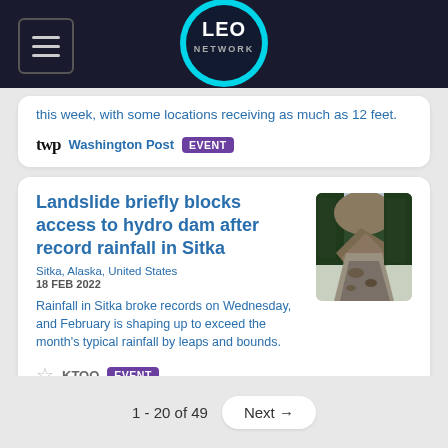LEO NETWORK
this week, with some locations receiving as much as 12 feet.
Washington Post EVENT
Landslide briefly blocks access to hydro dam after record rainfall in Sitka
Sitka, Alaska, United States
18 FEB 2022
Rainfall in Sitka broke records on Wednesday, and February is shaping up to exceed the month's typical rainfall by leaps and bounds.
[Figure (photo): Photo of a landslide blocking a road through a forested area in Sitka, Alaska]
KTOO EVENT
1 - 20 of 49  Next →